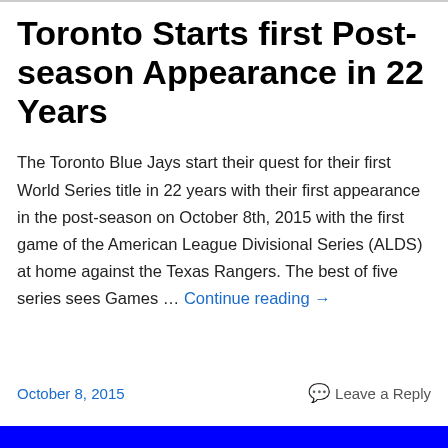Toronto Starts first Post-season Appearance in 22 Years
The Toronto Blue Jays start their quest for their first World Series title in 22 years with their first appearance in the post-season on October 8th, 2015 with the first game of the American League Divisional Series (ALDS) at home against the Texas Rangers. The best of five series sees Games … Continue reading →
October 8, 2015    Leave a Reply